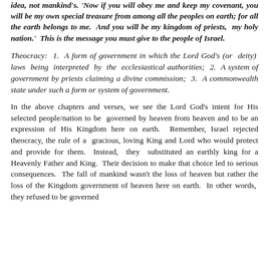idea, not mankind's. 'Now if you will obey me and keep my covenant, you will be my own special treasure from among all the peoples on earth; for all the earth belongs to me. And you will be my kingdom of priests, my holy nation.' This is the message you must give to the people of Israel.
Theocracy: 1. A form of government in which the Lord God's (or deity) laws being interpreted by the ecclesiastical authorities; 2. A system of government by priests claiming a divine commission; 3. A commonwealth state under such a form or system of government.
In the above chapters and verses, we see the Lord God's intent for His selected people/nation to be governed by heaven from heaven and to be an expression of His Kingdom here on earth. Remember, Israel rejected theocracy, the rule of a gracious, loving King and Lord who would protect and provide for them. Instead, they substituted an earthly king for a Heavenly Father and King. Their decision to make that choice led to serious consequences. The fall of mankind wasn't the loss of heaven but rather the loss of the Kingdom government of heaven here on earth. In other words, they refused to be governed